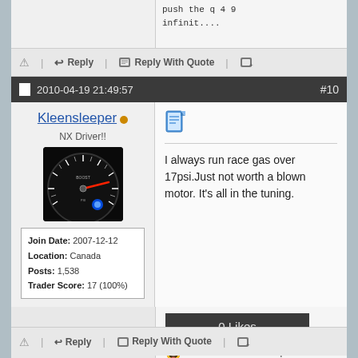push the q 4 9 infinit....
Reply | Reply With Quote
2010-04-19 21:49:57  #10
Kleensleeper
NX Driver!!
[Figure (photo): Gauge cluster photo showing a speedometer/boost gauge with glowing white markings and a red needle, blue light visible]
| Join Date: | 2007-12-12 |
| Location: | Canada |
| Posts: | 1,538 |
| Trader Score: | 17 (100%) |
I always run race gas over 17psi.Just not worth a blown motor. It's all in the tuning.
0 Likes
Be the first to like this post.
NX Driver!!
Reply | Reply With Quote